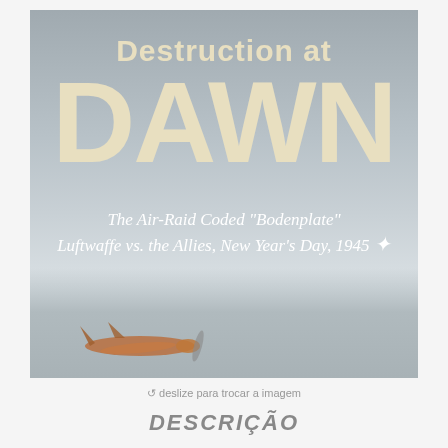[Figure (photo): Book cover of 'Destruction at Dawn' — The Air-Raid Coded Bodenplate, Luftwaffe vs. the Allies, New Year's Day, 1945. Cover shows large cream/beige bold lettering on a grey-blue sky background, with a subtitle in white italic script and a partial view of a WWII aircraft at the bottom.]
⟳ deslize para trocar a imagem
DESCRIÇÃO